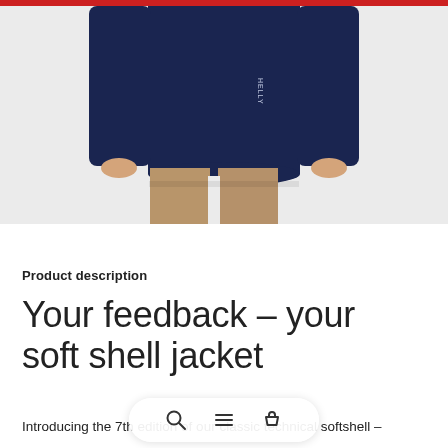[Figure (photo): Product photo of a person wearing a navy blue long-sleeve soft shell jacket with tan/khaki pants. Only the torso and lower body are visible. Light gray background.]
Product description
Your feedback – your soft shell jacket
Introducing the 7th edition of our classic technical softshell –